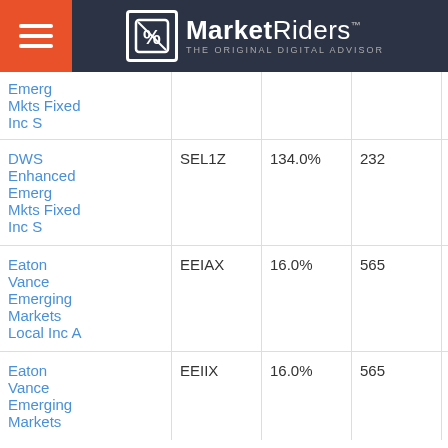MarketRiders — The Original Digital Advisor
| Name | Ticker | Return | Holdings | Expense |
| --- | --- | --- | --- | --- |
| Emerg Mkts Fixed Inc S |  |  |  |  |
| DWS Enhanced Emerg Mkts Fixed Inc S | SEL1Z | 134.0% | 232 | 0.98% |
| Eaton Vance Emerging Markets Local Inc A | EEIAX | 16.0% | 565 | 1.33% |
| Eaton Vance Emerging Markets | EEIIX | 16.0% | 565 | 1.04% |